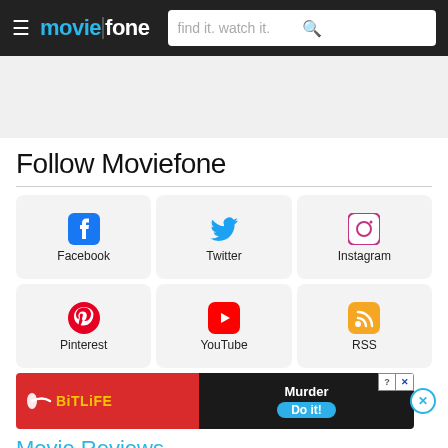moviefone — find it. watch it.
[Figure (other): Advertisement placeholder area (blank gray box)]
Follow Moviefone
[Figure (infographic): Social media buttons grid: Facebook, Twitter, Instagram (top row), Pinterest, YouTube, RSS (bottom row)]
[Figure (other): BitLife advertisement banner: red left side with BitLife logo, dark right side with 'Murder Do it!' call to action and close buttons]
Movie Reviews